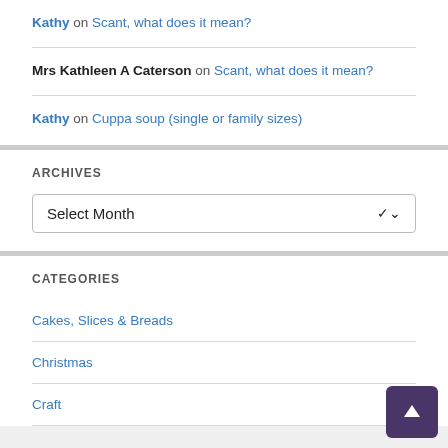Kathy on Scant, what does it mean?
Mrs Kathleen A Caterson on Scant, what does it mean?
Kathy on Cuppa soup (single or family sizes)
ARCHIVES
Select Month
CATEGORIES
Cakes, Slices & Breads
Christmas
Craft